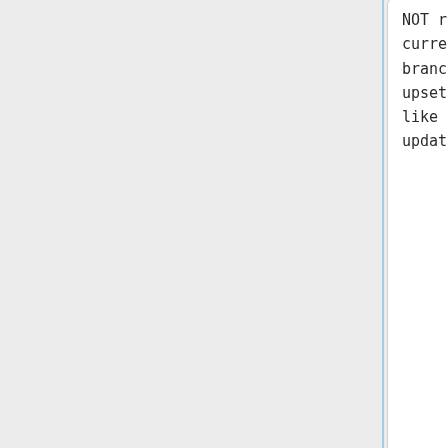NOT remove it from current deployment branches. Git gets upset and breaks things like git submodule update.
NOT remove it from current deployment branches. Git gets upset and breaks things like git submodule update.
:Per [http://stackoverflow.com/questions/1260748/how-do-i-remove-a-git-submodule Stackoverfo
:Per [http://stackoverflow.com/questions/1260748/how-do-i-remove-a-git-submodule Stackoverfo